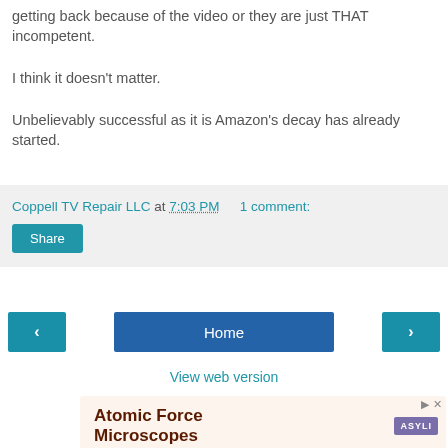getting back because of the video or they are just THAT incompetent.
I think it doesn't matter.
Unbelievably successful as it is Amazon's decay has already started.
Coppell TV Repair LLC at 7:03 PM    1 comment:
Share
Home
View web version
[Figure (other): Advertisement banner for Atomic Force Microscopes with ASYLI logo]